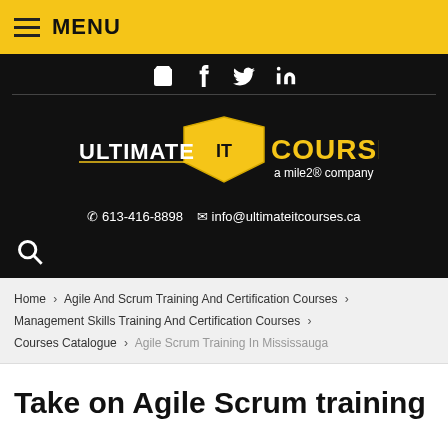MENU
[Figure (logo): Ultimate IT Courses logo — shield with 'IT' emblem, text 'ULTIMATE COURSES a mile2® company' in gold/white on black background]
613-416-8898  info@ultimateitcourses.ca
Home > Agile And Scrum Training And Certification Courses > Management Skills Training And Certification Courses > Courses Catalogue > Agile Scrum Training In Mississauga
Take on Agile Scrum training